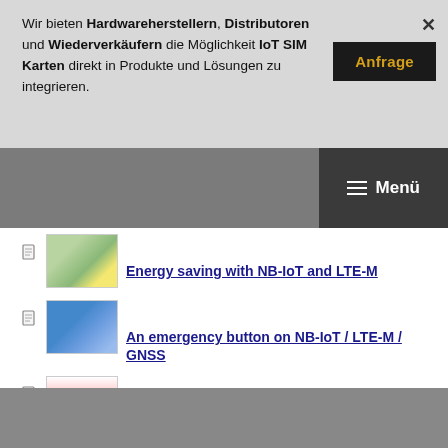Wir bieten Hardwareherstellern, Distributoren und Wiederverkäufern die Möglichkeit IoT SIM Karten direkt in Produkte und Lösungen zu integrieren.
[Figure (screenshot): Anfrage button and close X button on dark banner]
[Figure (screenshot): Navigation menu button overlay on grey strip]
Energy saving with NB-IoT and LTE-M
An emergency button on NB-IoT / LTE-M / GNSS
A guide to selecting an antenna for an IoT device
Embedded Antenna Design – Make or Buy – Q&A